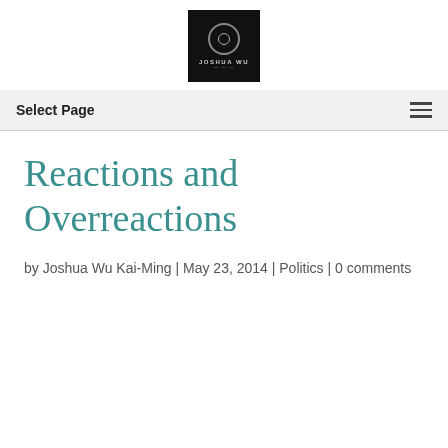[Figure (logo): Black square logo with circular emblem and text 'Joshua Wu' in white/grey lettering]
Select Page
Reactions and Overreactions
by Joshua Wu Kai-Ming | May 23, 2014 | Politics | 0 comments